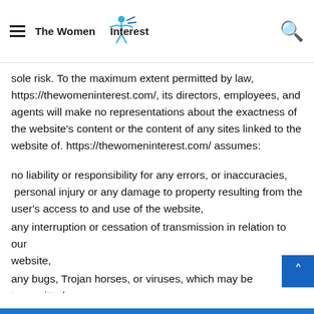The Women Interest
sole risk. To the maximum extent permitted by law, https://thewomeninterest.com/, its directors, employees, and agents will make no representations about the exactness of the website's content or the content of any sites linked to the website of. https://thewomeninterest.com/ assumes:
no liability or responsibility for any errors, or inaccuracies, personal injury or any damage to property resulting from the user's access to and use of the website,
any interruption or cessation of transmission in relation to our website,
any bugs, Trojan horses, or viruses, which may be transmitted through the website or by any third party
any omissions or errors in content by way of content posted, transmitted, or emailed.